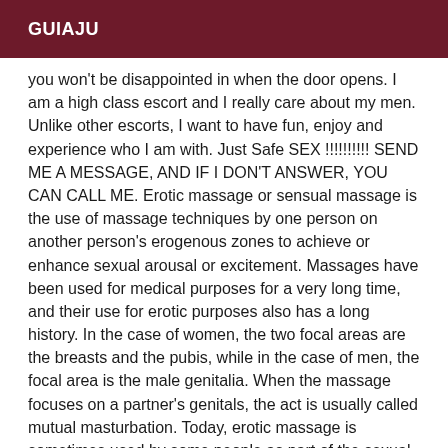GUIAJU
you won't be disappointed in when the door opens. I am a high class escort and I really care about my men. Unlike other escorts, I want to have fun, enjoy and experience who I am with. Just Safe SEX !!!!!!!!!! SEND ME A MESSAGE, AND IF I DON'T ANSWER, YOU CAN CALL ME. Erotic massage or sensual massage is the use of massage techniques by one person on another person's erogenous zones to achieve or enhance sexual arousal or excitement. Massages have been used for medical purposes for a very long time, and their use for erotic purposes also has a long history. In the case of women, the two focal areas are the breasts and the pubis, while in the case of men, the focal area is the male genitalia. When the massage focuses on a partner's genitals, the act is usually called mutual masturbation. Today, erotic massage is sometimes used by some people as part of the sexual act, either as foreplay or as a final sexual act, or as part of sex